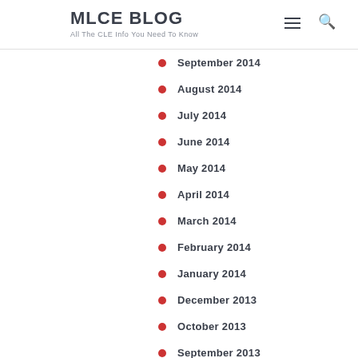MLCE BLOG
All The CLE Info You Need To Know
September 2014
August 2014
July 2014
June 2014
May 2014
April 2014
March 2014
February 2014
January 2014
December 2013
October 2013
September 2013
August 2013